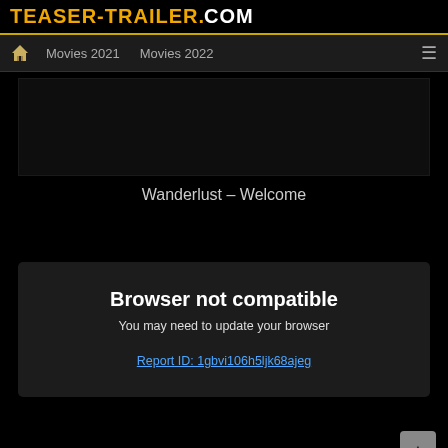TEASER-TRAILER.COM
Movies 2021   Movies 2022
[Figure (screenshot): Dark video player placeholder area]
Wanderlust – Welcome
Browser not compatible
You may need to update your browser
Report ID: 1gbvi106h5ljk68ajeg